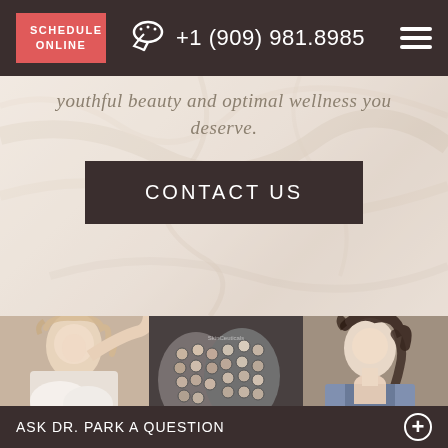SCHEDULE ONLINE  +1 (909) 981.8985
youthful beauty and optimal wellness you deserve.
CONTACT US
[Figure (photo): Three photos side by side: blonde woman touching hair, two oval makeup/skincare product palettes, brunette woman in casual wear]
ASK DR. PARK A QUESTION  +